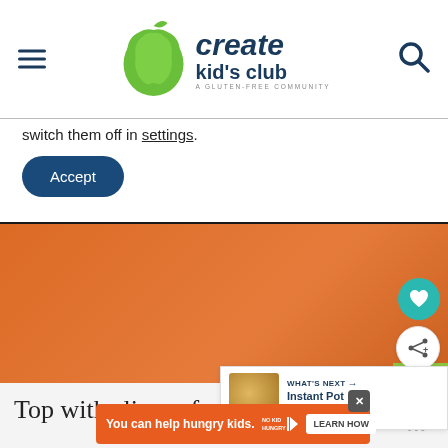[Figure (logo): Create Kid's Club logo with apple icon and text, A Gluten-Free Community tagline]
switch them off in settings.
Accept
[Figure (photo): Orange/food content image area]
WHAT'S NEXT → Instant Pot Loaded Pota...
Top with slices of green onion & enjoy!
[Figure (screenshot): No Kid Hungry advertisement banner: You can help hungry kids. LEARN HOW]